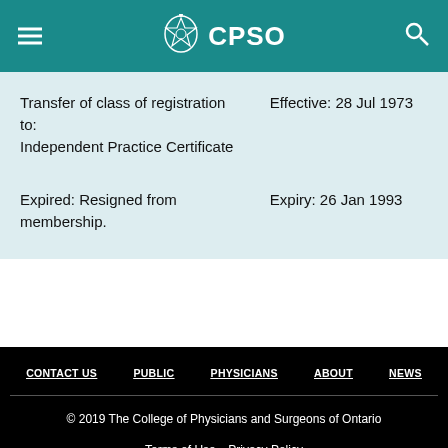CPSO
| Description | Date |
| --- | --- |
| Transfer of class of registration to: Independent Practice Certificate | Effective: 28 Jul 1973 |
| Expired: Resigned from membership. | Expiry: 26 Jan 1993 |
CONTACT US  PUBLIC  PHYSICIANS  ABOUT  NEWS
© 2019 The College of Physicians and Surgeons of Ontario
Terms of Use  Privacy Policy